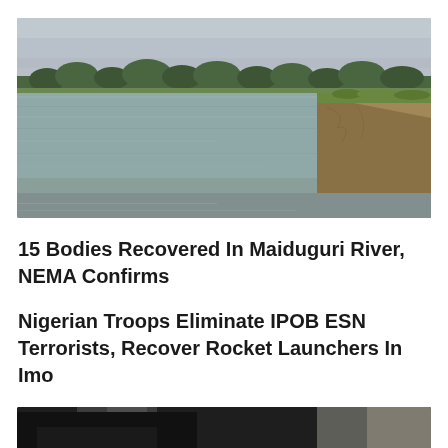[Figure (photo): A wide muddy river with a tree-lined bank in the background and a grassy eroded embankment in the foreground right. Overcast grey sky above.]
15 Bodies Recovered In Maiduguri River, NEMA Confirms
Nigerian Troops Eliminate IPOB ESN Terrorists, Recover Rocket Launchers In Imo
[Figure (photo): Partial photo of a person dressed in dark clothing, partially cropped at page bottom.]